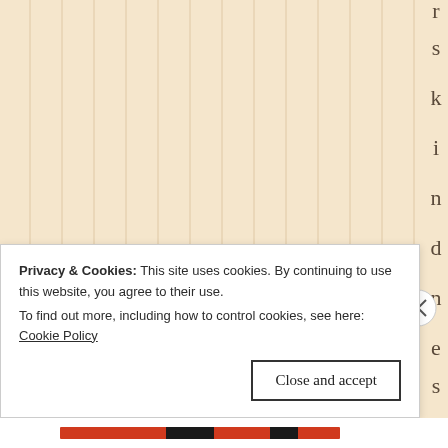[Figure (other): Cream/beige background with vertical ruled lines, letters spelling 'skindn ess bu' arranged vertically on the right side — partial view of a decorative/blog page background with rotated text sidebar]
Privacy & Cookies: This site uses cookies. By continuing to use this website, you agree to their use.
To find out more, including how to control cookies, see here: Cookie Policy